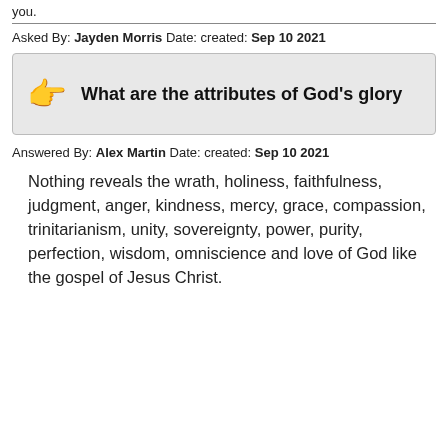you.
Asked By: Jayden Morris Date: created: Sep 10 2021
What are the attributes of God's glory
Answered By: Alex Martin Date: created: Sep 10 2021
Nothing reveals the wrath, holiness, faithfulness, judgment, anger, kindness, mercy, grace, compassion, trinitarianism, unity, sovereignty, power, purity, perfection, wisdom, omniscience and love of God like the gospel of Jesus Christ.